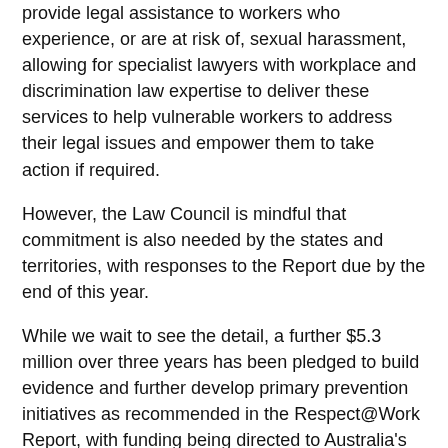provide legal assistance to workers who experience, or are at risk of, sexual harassment, allowing for specialist lawyers with workplace and discrimination law expertise to deliver these services to help vulnerable workers to address their legal issues and empower them to take action if required.
However, the Law Council is mindful that commitment is also needed by the states and territories, with responses to the Report due by the end of this year.
While we wait to see the detail, a further $5.3 million over three years has been pledged to build evidence and further develop primary prevention initiatives as recommended in the Respect@Work Report, with funding being directed to Australia's National Research Organisation for Women's Safety (ANROWS) to deliver research projects into sexual harassment.
The Law Council firmly believes that research is an imperative to inform future programs that are fit for purpose, in addressing